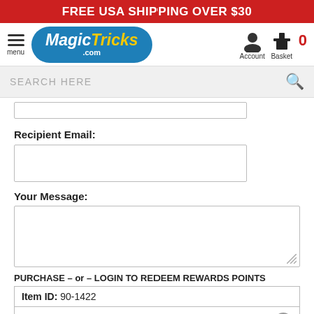FREE USA SHIPPING OVER $30
[Figure (logo): MagicTricks.com logo with blue oval background, white 'Magic' italic text and yellow 'Tricks' italic text, with '.com' below]
SEARCH HERE
Recipient Email:
Your Message:
PURCHASE – or – LOGIN TO REDEEM REWARDS POINTS
Item ID: 90-1422
YOUR PRICE: $5.00